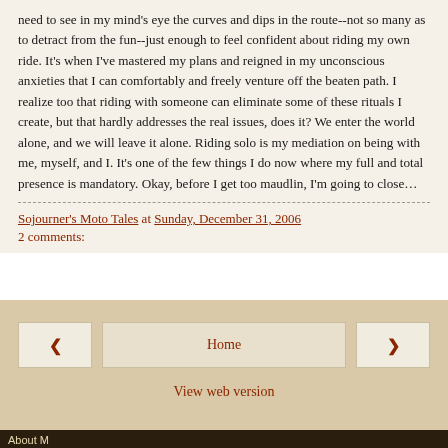need to see in my mind's eye the curves and dips in the route--not so many as to detract from the fun--just enough to feel confident about riding my own ride. It's when I've mastered my plans and reigned in my unconscious anxieties that I can comfortably and freely venture off the beaten path. I realize too that riding with someone can eliminate some of these rituals I create, but that hardly addresses the real issues, does it? We enter the world alone, and we will leave it alone. Riding solo is my mediation on being with me, myself, and I. It's one of the few things I do now where my full and total presence is mandatory. Okay, before I get too maudlin, I'm going to close…
Sojourner's Moto Tales at Sunday, December 31, 2006
2 comments:
Home | View web version